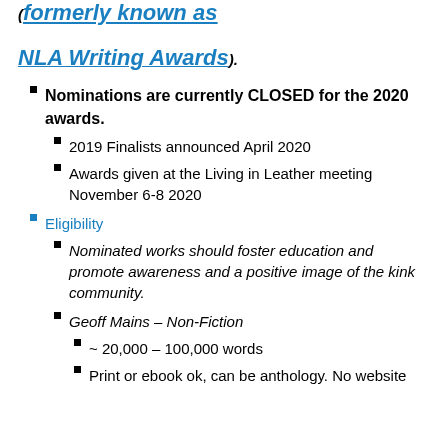(formerly known as NLA Writing Awards).
Nominations are currently CLOSED for the 2020 awards.
2019 Finalists announced April 2020
Awards given at the Living in Leather meeting November 6-8 2020
Eligibility
Nominated works should foster education and promote awareness and a positive image of the kink community.
Geoff Mains – Non-Fiction
~ 20,000 – 100,000 words
Print or ebook ok, can be anthology. No website